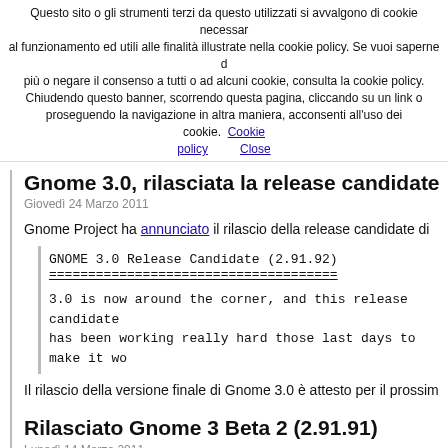Questo sito o gli strumenti terzi da questo utilizzati si avvalgono di cookie necessari al funzionamento ed utili alle finalità illustrate nella cookie policy. Se vuoi saperne di più o negare il consenso a tutti o ad alcuni cookie, consulta la cookie policy. Chiudendo questo banner, scorrendo questa pagina, cliccando su un link o proseguendo la navigazione in altra maniera, acconsenti all'uso dei cookie.   Cookie policy   Close
Gnome 3.0, rilasciata la release candidate
Giovedì 24 Marzo 2011
Gnome Project ha annunciato il rilascio della release candidate di
GNOME 3.0 Release Candidate (2.91.92)
====================================

3.0 is now around the corner, and this release candidate has been working really hard those last days to make it wo
Il rilascio della versione finale di Gnome 3.0 è attesto per il prossin
Rilasciato Gnome 3 Beta 2 (2.91.91)
Lunedì 14 Marzo 2011
Rilasciata la seconda beta di Gnome 3, desktop environment per s